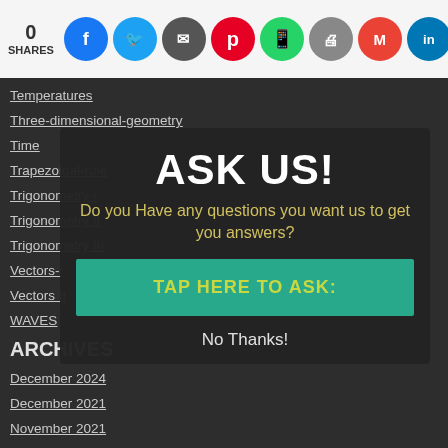0 SHARES — social sharing bar with Facebook, Twitter, Email, Pinterest, WhatsApp, Print, Gmail, LinkedIn, Google icons
Temperatures
Three-dimensional-geometry
Time
Trapezoidal-rule
Trigonometry-i
Trigonometry II
Trigonometry III
Vectors-i
Vectors II
WAVES
ARCHIVES
December 2024
December 2021
November 2021
October 2021
ASK US!
Do you Have any questions you want us to get you answers?
TAP HERE TO ASK:
No Thanks!